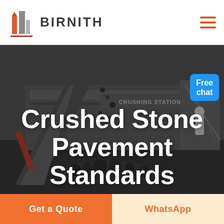BIRNITH
[Figure (photo): Industrial crushing station machinery with conveyor belt, stones being processed, dark industrial background]
Crushed Stone Pavement Standards
Free chat
Get a Quote
WhatsApp